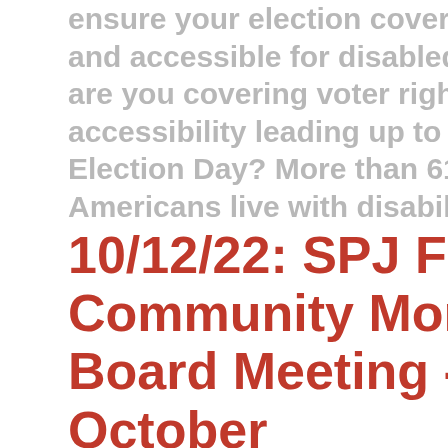ensure your election coverage is useful and accessible for disabled voters? How are you covering voter rights and accessibility leading up to and on Election Day? More than 61 million Americans live with disabilities, yet they...
10/12/22: SPJ Freelance Community Monthly Board Meeting - October
The SPJ Freelance Community board will meet on Wed., Oct. 12, from 4:00 to 5:30 p.m. ET. All SPJ members are...